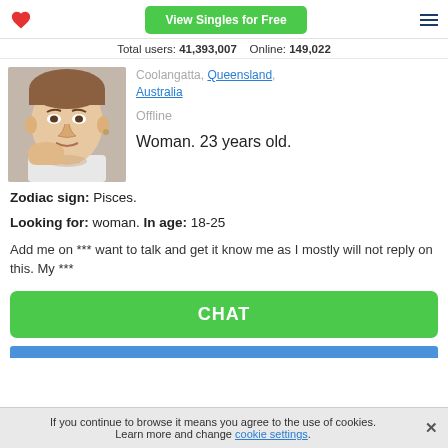View Singles for Free
Total users: 41,393,007   Online: 149,022
[Figure (photo): Profile photo of a young woman, approximately 23 years old, with light skin, resting her hand near her face, looking at the camera. Background appears to be indoors.]
Coolangatta, Queensland, Australia
Offline
Woman. 23 years old.
Zodiac sign: Pisces.
Looking for: woman. In age: 18-25
Add me on *** want to talk and get it know me as I mostly will not reply on this. My ***
CHAT
If you continue to browse it means you agree to the use of cookies. Learn more and change cookie settings.